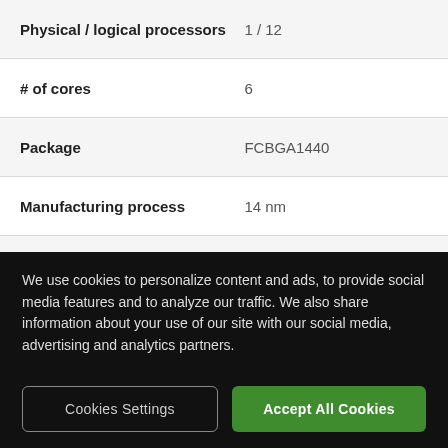| Specification | Value |
| --- | --- |
| Physical / logical processors | 1 / 12 |
| # of cores | 6 |
| Package | FCBGA1440 |
| Manufacturing process | 14 nm |
| TDP | 45 W |
GENERAL
| Specification | Value |
| --- | --- |
| Operating system | 64-bit Windows 11 (10.0.2 |
We use cookies to personalize content and ads, to provide social media features and to analyze our traffic. We also share information about your use of our site with our social media, advertising and analytics partners.